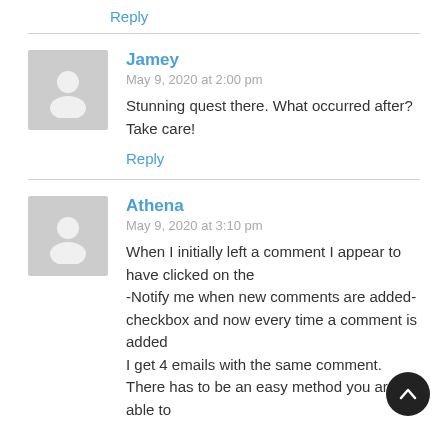Reply
Jamey
May 9, 2020 at 2:00 pm
Stunning quest there. What occurred after? Take care!
Reply
Athena
May 9, 2020 at 3:10 pm
When I initially left a comment I appear to have clicked on the -Notify me when new comments are added- checkbox and now every time a comment is added I get 4 emails with the same comment. There has to be an easy method you are able to